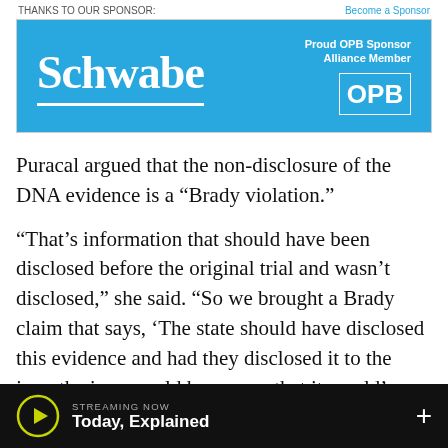THANKS TO OUR SPONSOR:    Become a Sponsor
[Figure (logo): Schwabe sponsor advertisement on OPB – blue background with Schwabe logo on left and OPB Proud Sponsor Alliance Member badge on right]
Puracal argued that the non-disclosure of the DNA evidence is a “Brady violation.”
“That’s information that should have been disclosed before the original trial and wasn’t disclosed,” she said. “So we brought a Brady claim that says, ‘The state should have disclosed this evidence and had they disclosed it to the jury, the jury would have seen that it would’ve made a difference.’”
STREAMING NOW  Today, Explained  +